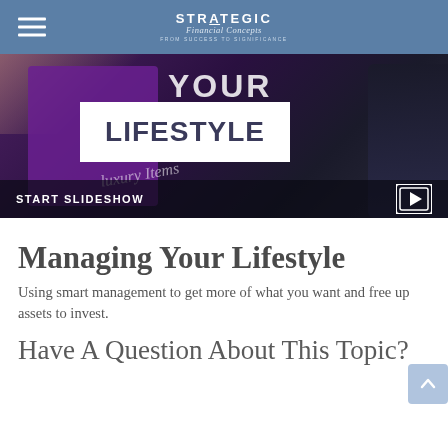STRATEGIC Financial Concepts — From Success to Significance
[Figure (screenshot): Slideshow image with purple background, white 'LIFESTYLE' banner, 'YOUR' text, 'luxury items' italic text, a dark tablet on right edge, and a 'START SLIDESHOW' bar at the bottom with a play icon.]
Managing Your Lifestyle
Using smart management to get more of what you want and free up assets to invest.
Have A Question About This Topic?